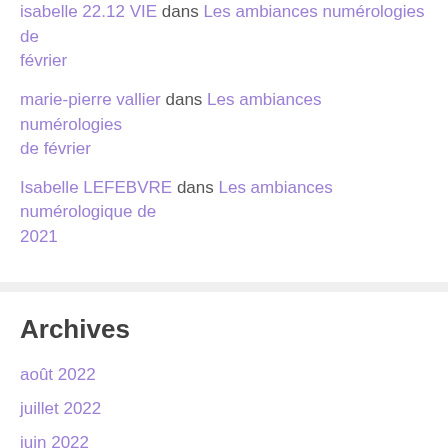isabelle 22.12 VIE dans Les ambiances numérologies de février
marie-pierre vallier dans Les ambiances numérologies de février
Isabelle LEFEBVRE dans Les ambiances numérologique de 2021
Archives
août 2022
juillet 2022
juin 2022
mai 2022
avril 2022
mars 2022